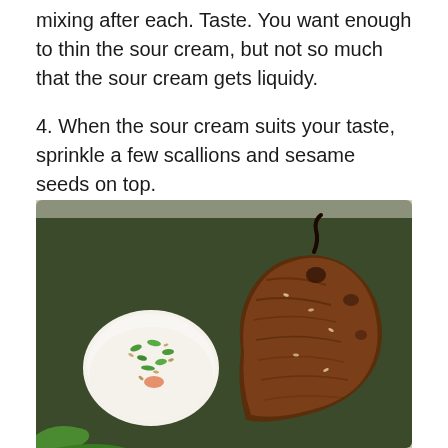mixing after each. Taste. You want enough to thin the sour cream, but not so much that the sour cream gets liquidy.
4. When the sour cream suits your taste, sprinkle a few scallions and sesame seeds on top.
[Figure (photo): A fried potato latke/hash brown patty and a dollop of sour cream topped with scallions and sesame seeds, both served on a dark green rectangular plate.]